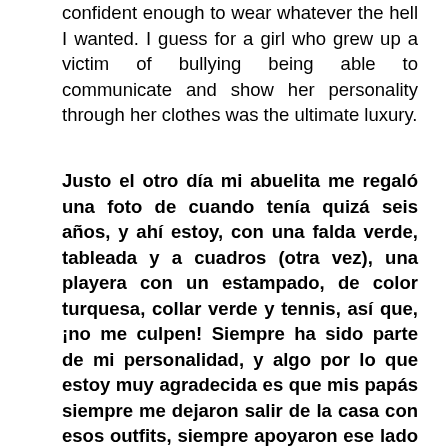confident enough to wear whatever the hell I wanted. I guess for a girl who grew up a victim of bullying being able to communicate and show her personality through her clothes was the ultimate luxury.
Justo el otro día mi abuelita me regaló una foto de cuando tenía quizá seis años, y ahí estoy, con una falda verde, tableada y a cuadros (otra vez), una playera con un estampado, de color turquesa, collar verde y tennis, así que, ¡no me culpen! Siempre ha sido parte de mi personalidad, y algo por lo que estoy muy agradecida es que mis papás siempre me dejaron salir de la casa con esos outfits, siempre apoyaron ese lado de mi creatividad y expresión y nunca la limitaron. Recuerdo que desde pequeña mi mamá me decía como imponía moda, y supongo que siempre lo creí,